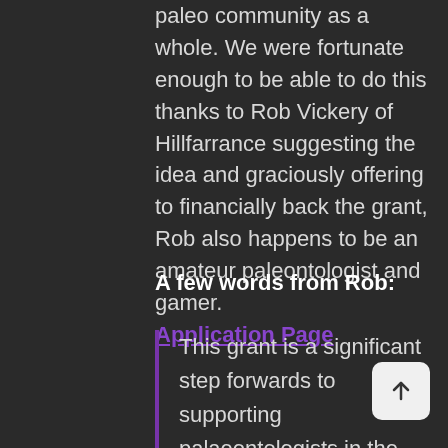paleo community as a whole. We were fortunate enough to be able to do this thanks to Rob Vickery of Hillfarrance suggesting the idea and graciously offering to financially back the grant, Rob also happens to be an amateur paleontologist and gamer. Application Page
A few words from Rob:
This grant is a significant step forwards to supporting palaeontologists in the field to give us the data to tell more accurate stories and to fearlessly